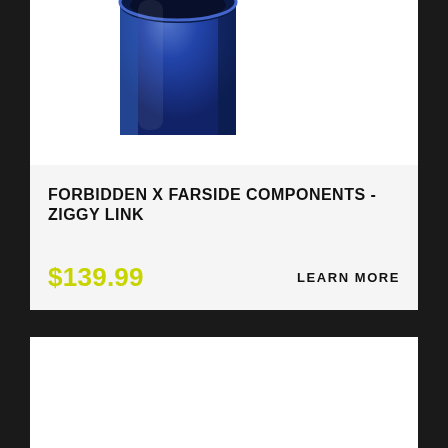[Figure (photo): Partial view of a dark blue cylindrical bicycle component (Ziggy Link) shown from the top, partially cropped]
FORBIDDEN X FARSIDE COMPONENTS - ZIGGY LINK
$139.99
LEARN MORE
[Figure (photo): Bottom product card showing white background area, partially visible]